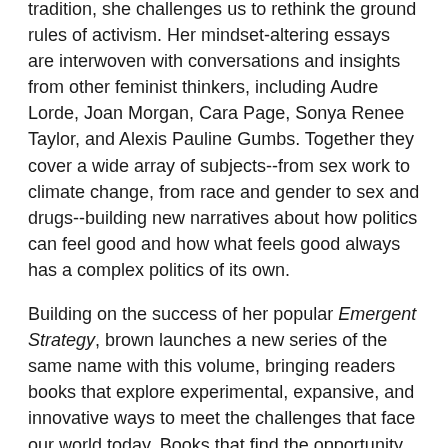tradition, she challenges us to rethink the ground rules of activism. Her mindset-altering essays are interwoven with conversations and insights from other feminist thinkers, including Audre Lorde, Joan Morgan, Cara Page, Sonya Renee Taylor, and Alexis Pauline Gumbs. Together they cover a wide array of subjects--from sex work to climate change, from race and gender to sex and drugs--building new narratives about how politics can feel good and how what feels good always has a complex politics of its own.
Building on the success of her popular Emergent Strategy, brown launches a new series of the same name with this volume, bringing readers books that explore experimental, expansive, and innovative ways to meet the challenges that face our world today. Books that find the opportunity in every crisis
adrienne maree brown, author of Emergent Strategy and co-editor of Octavia's Brood, is a social justice facilitator focused on black liberation, a doula/healer, and a pleasure activist. She lives in Detroit.
PRAISE for Pleasure Activism: